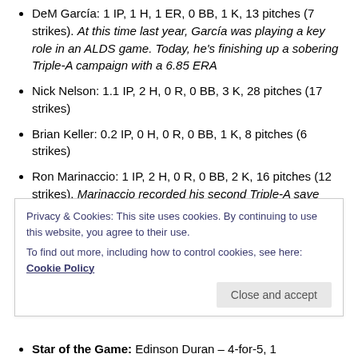DeM García: 1 IP, 1 H, 1 ER, 0 BB, 1 K, 13 pitches (7 strikes). At this time last year, García was playing a key role in an ALDS game. Today, he's finishing up a sobering Triple-A campaign with a 6.85 ERA
Nick Nelson: 1.1 IP, 2 H, 0 R, 0 BB, 3 K, 28 pitches (17 strikes)
Brian Keller: 0.2 IP, 0 H, 0 R, 0 BB, 1 K, 8 pitches (6 strikes)
Ron Marinaccio: 1 IP, 2 H, 0 R, 0 BB, 2 K, 16 pitches (12 strikes). Marinaccio recorded his second Triple-A save
DSL Yankees: It was the end of the line for the DSL
Privacy & Cookies: This site uses cookies. By continuing to use this website, you agree to their use. To find out more, including how to control cookies, see here: Cookie Policy
Star of the Game: Edinson Duran – 4-for-5, 1